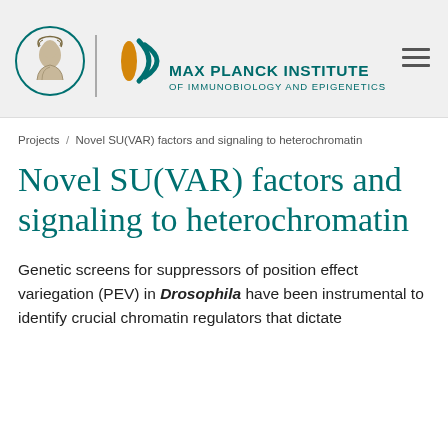[Figure (logo): Max Planck Institute logo: Minerva circle, vertical divider, teal arc emblem with gold oval, institute name in teal]
MAX PLANCK INSTITUTE OF IMMUNOBIOLOGY AND EPIGENETICS
Projects / Novel SU(VAR) factors and signaling to heterochromatin
Novel SU(VAR) factors and signaling to heterochromatin
Genetic screens for suppressors of position effect variegation (PEV) in Drosophila have been instrumental to identify crucial chromatin regulators that dictate